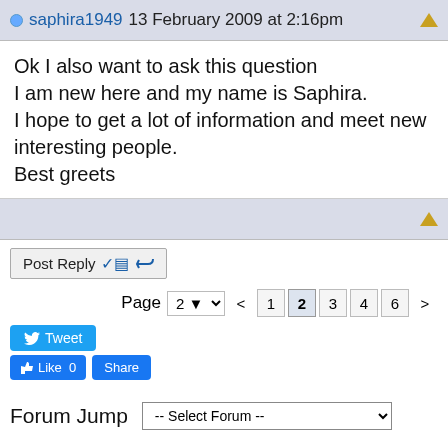saphira1949 13 February 2009 at 2:16pm
Ok I also want to ask this question
I am new here and my name is Saphira.
I hope to get a lot of information and meet new interesting people.
Best greets
Page 2 < 1 2 3 4 6 >
Tweet
Like 0 Share
Forum Jump -- Select Forum --
View in: Mobile | Classic